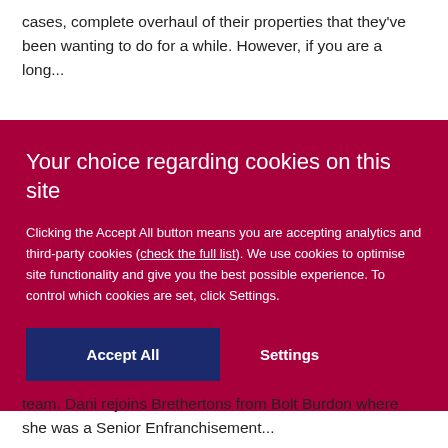cases, complete overhaul of their properties that they've been wanting to do for a while.  However, if you are a long...
Your choice regarding cookies on this site
Clicking the Accept All button means you are accepting analytics and third-party cookies (check the full list). We use cookies to optimise site functionality and give you the best possible experience. To control which cookies are set, click Settings.
team. Dani rejoins Brethertons from Bolt Burdon where she was a Senior Enfranchisement...